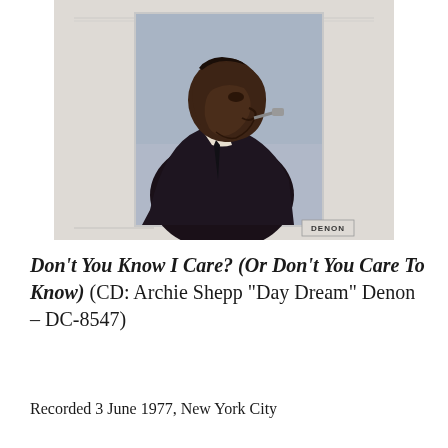[Figure (photo): Album cover photo showing a Black man in profile view wearing a dark suit and tie, looking downward, against a light blue-grey background. The image is set within a beige/off-white album sleeve with a DENON label in the bottom right corner.]
Don't You Know I Care? (Or Don't You Care To Know) (CD: Archie Shepp "Day Dream" Denon – DC-8547)
Recorded 3 June 1977, New York City